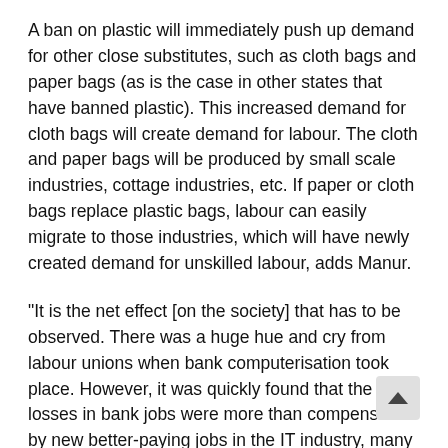A ban on plastic will immediately push up demand for other close substitutes, such as cloth bags and paper bags (as is the case in other states that have banned plastic). This increased demand for cloth bags will create demand for labour. The cloth and paper bags will be produced by small scale industries, cottage industries, etc. If paper or cloth bags replace plastic bags, labour can easily migrate to those industries, which will have newly created demand for unskilled labour, adds Manur.
“It is the net effect [on the society] that has to be observed. There was a huge hue and cry from labour unions when bank computerisation took place. However, it was quickly found that the losses in bank jobs were more than compensated by new better-paying jobs in the IT industry, many of whom created software for the banks to work on,” he says.